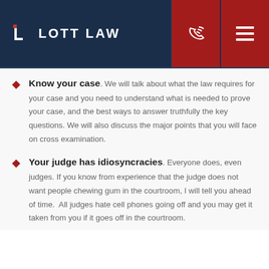Lott Law
Know your case. We will talk about what the law requires for your case and you need to understand what is needed to prove your case, and the best ways to answer truthfully the key questions. We will also discuss the major points that you will face on cross examination.
Your judge has idiosyncracies. Everyone does, even judges. If you know from experience that the judge does not want people chewing gum in the courtroom, I will tell you ahead of time.  All judges hate cell phones going off and you may get it taken from you if it goes off in the courtroom.